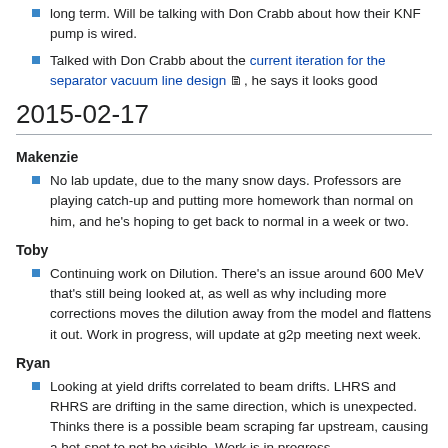long term. Will be talking with Don Crabb about how their KNF pump is wired.
Talked with Don Crabb about the current iteration for the separator vacuum line design, he says it looks good
2015-02-17
Makenzie
No lab update, due to the many snow days. Professors are playing catch-up and putting more homework than normal on him, and he's hoping to get back to normal in a week or two.
Toby
Continuing work on Dilution. There's an issue around 600 MeV that's still being looked at, as well as why including more corrections moves the dilution away from the model and flattens it out. Work in progress, will update at g2p meeting next week.
Ryan
Looking at yield drifts correlated to beam drifts. LHRS and RHRS are drifting in the same direction, which is unexpected. Thinks there is a possible beam scraping far upstream, causing a hot-spot to not be visible. Work is in progress.
Redoing and automating his Bosted model code to help Toby with